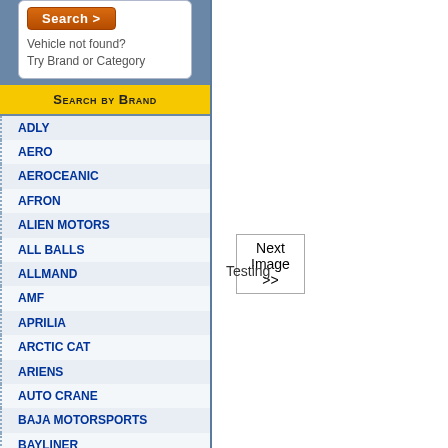[Figure (screenshot): Orange Search button with right arrow]
Vehicle not found?
Try Brand or Category
Search by Brand
ADLY
AERO
AEROCEANIC
AFRON
ALIEN MOTORS
ALL BALLS
ALLMAND
AMF
APRILIA
ARCTIC CAT
ARIENS
AUTO CRANE
BAJA MOTORSPORTS
BAYLINER
BENELLI
[Figure (screenshot): Next Image >> button]
Testing